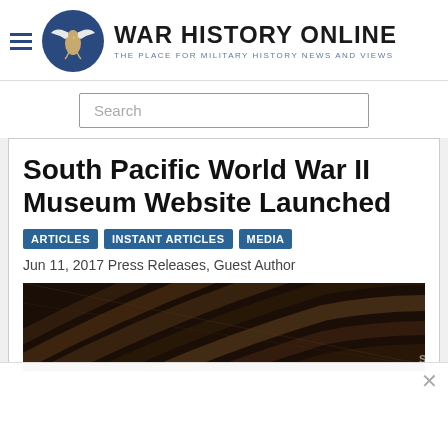WAR HISTORY ONLINE — THE PLACE FOR MILITARY HISTORY NEWS AND VIEWS
Search
South Pacific World War II Museum Website Launched
ARTICLES
INSTANT ARTICLES
MEDIA
Jun 11, 2017 Press Releases, Guest Author
[Figure (photo): Dark photo of curved woven or wooden structure, partial view. Watermark text 'SOU' visible at bottom right.]